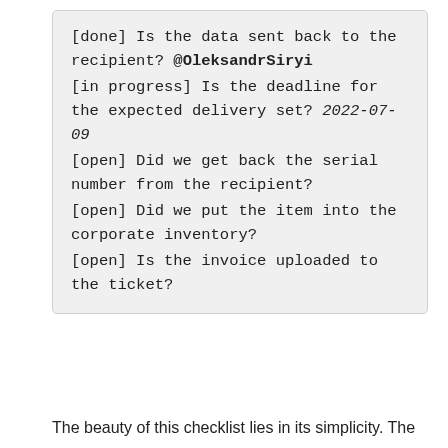[done] Is the data sent back to the recipient? @OleksandrSiryi
[in progress] Is the deadline for the expected delivery set? 2022-07-09
[open] Did we get back the serial number from the recipient?
[open] Did we put the item into the corporate inventory?
[open] Is the invoice uploaded to the ticket?
The beauty of this checklist lies in its simplicity. The